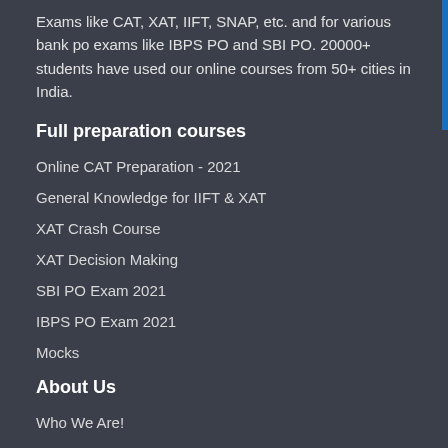Exams like CAT, XAT, IIFT, SNAP, etc. and for various bank po exams like IBPS PO and SBI PO. 20000+ students have used our online courses from 50+ cities in India.
Full preparation courses
Online CAT Preparation - 2021
General Knowledge for IIFT & XAT
XAT Crash Course
XAT Decision Making
SBI PO Exam 2021
IBPS PO Exam 2021
Mocks
About Us
Who We Are!
Contact Us
Reviews on Quora
Free Preparation Resources
Blog